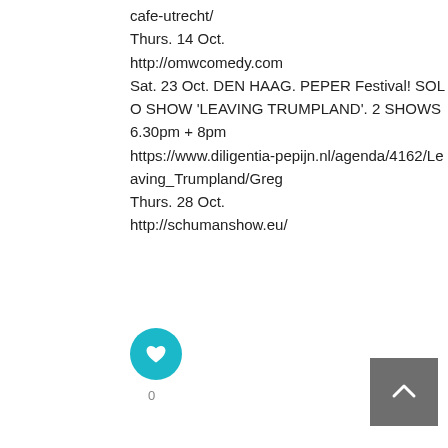cafe-utrecht/
Thurs. 14 Oct.
http://omwcomedy.com
Sat. 23 Oct. DEN HAAG. PEPER Festival! SOLO SHOW 'LEAVING TRUMPLAND'. 2 SHOWS 6.30pm + 8pm
https://www.diligentia-pepijn.nl/agenda/4162/Leaving_Trumpland/Greg
Thurs. 28 Oct.
http://schumanshow.eu/
[Figure (illustration): Teal/cyan circular like button with a white heart icon in the center]
0
[Figure (illustration): Dark grey square button with an upward-pointing caret/chevron arrow in white]